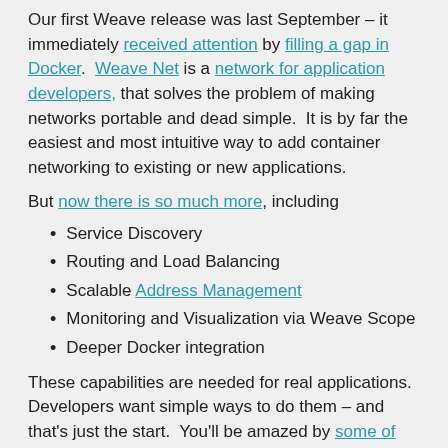Our first Weave release was last September – it immediately received attention by filling a gap in Docker. Weave Net is a network for application developers, that solves the problem of making networks portable and dead simple. It is by far the easiest and most intuitive way to add container networking to existing or new applications.
But now there is so much more, including
Service Discovery
Routing and Load Balancing
Scalable Address Management
Monitoring and Visualization via Weave Scope
Deeper Docker integration
These capabilities are needed for real applications. Developers want simple ways to do them – and that's just the start. You'll be amazed by some of the features we've packed in. Please check out our product pages for more!